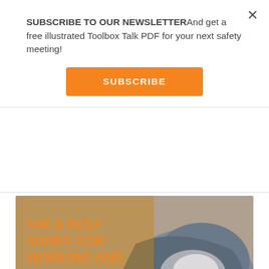SUBSCRIBE TO OUR NEWSLETTERAnd get a free illustrated Toolbox Talk PDF for your next safety meeting!
SUBSCRIBE
[Figure (photo): Close-up photo of a shoe/sneaker on a concrete floor, with blurred orange text overlay on the left side of the image.]
THE 8 BEST SHOES FOR WORKING AND WALKING ON CONCRETE FLOORS